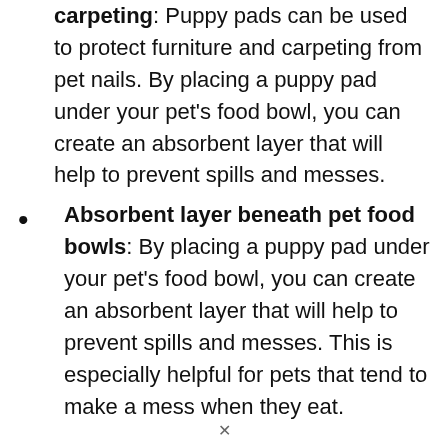carpeting: Puppy pads can be used to protect furniture and carpeting from pet nails. By placing a puppy pad under your pet's food bowl, you can create an absorbent layer that will help to prevent spills and messes.
Absorbent layer beneath pet food bowls: By placing a puppy pad under your pet's food bowl, you can create an absorbent layer that will help to prevent spills and messes. This is especially helpful for pets that tend to make a mess when they eat.